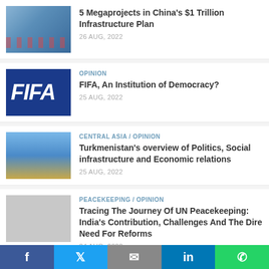[Figure (photo): Aerial view of infrastructure with red vehicles/trains]
5 Megaprojects in China's $1 Trillion Infrastructure Plan
26 AUG, 2022
OPINION
[Figure (photo): FIFA logo on dark blue background]
FIFA, An Institution of Democracy?
25 AUG, 2022
CENTRAL ASIA / OPINION
[Figure (photo): Golden statue monument with blue sky, Turkmenistan]
Turkmenistan's overview of Politics, Social infrastructure and Economic relations
25 AUG, 2022
PEACEKEEPING / OPINION
[Figure (photo): Faded/blurred peacekeeping image]
Tracing The Journey Of UN Peacekeeping: India's Contribution, Challenges And The Dire Need For Reforms
24 AUG, 2022